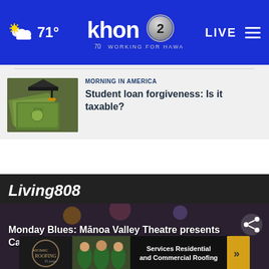71° | khon2 Working for Hawaii | LIVE
[Figure (screenshot): Article thumbnail showing graduation cap on US dollar bills]
MORNING IN AMERICA
Student loan forgiveness: Is it taxable?
Living808
Monday Blues: Mānoa Valley Theatre presents Cabaret
[Figure (photo): Advertisement banner for residential and commercial roofing services]